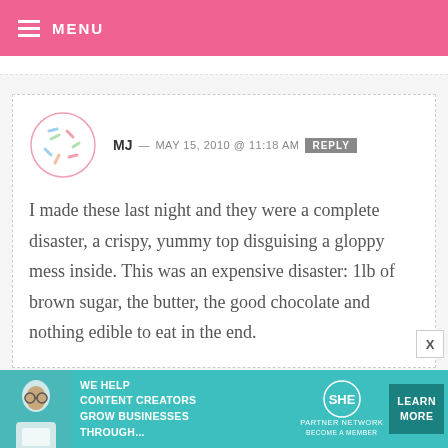MENU
MJ — MAY 15, 2010 @ 11:18 AM  REPLY
I made these last night and they were a complete disaster, a crispy, yummy top disguising a gloppy mess inside. This was an expensive disaster: 1lb of brown sugar, the butter, the good chocolate and nothing edible to eat in the end.

Could you update with how these bar cookies can end up as a failure....what
[Figure (infographic): SHE Partner Network advertisement banner: We help content creators grow businesses through... Learn More button]